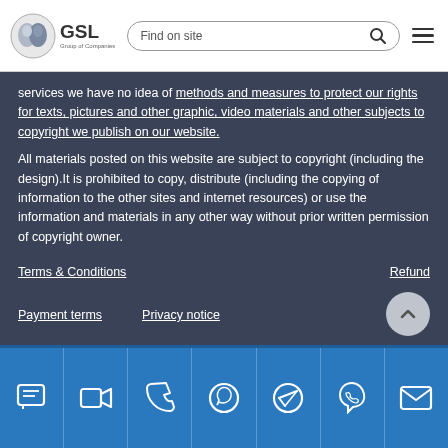[Figure (logo): GSL Group of Companies logo with circular emblem and text]
services we have no idea of methods and measures to protect our rights for texts, pictures and other graphic, video materials and other subjects to copyright we publish on our website.
All materials posted on this website are subject to copyright (including the design).It is prohibited to copy, distribute (including the copying of information to the other sites and internet resources) or use the information and materials in any other way without prior written permission of copyright owner.
Terms & Conditions
Refund
Payment terms
Privacy notice
Chat, Video, Phone, WhatsApp, Telegram, Viber, Email icons